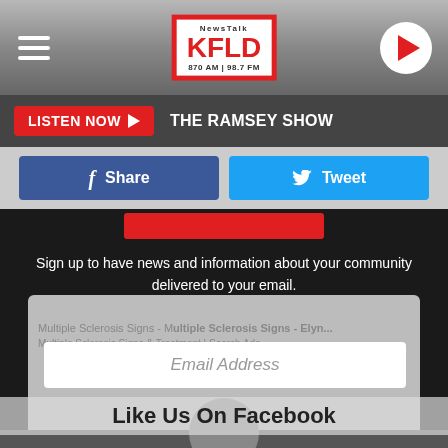NewsTalk KFLD 870 AM | 98.7 FM
LISTEN NOW ▶ THE RAMSEY SHOW
Share
Tweet
Sign up to have news and information about your community delivered to your email.
Email Address
Like Us On Facebook
Multiple Sclerosis Signs - Multiple Sclerosis Signs & Treatment | Search Ads